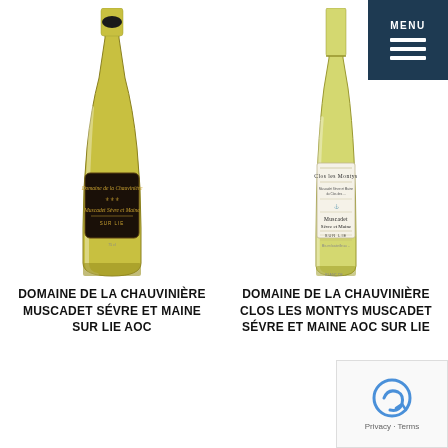[Figure (photo): Two wine bottles side by side. Left: Domaine de la Chauvinière Muscadet Sèvre et Maine Sur Lie, dark label bottle with yellow-green wine. Right: Clos Les Montys Muscadet Sèvre et Maine Sur Lie, light label bottle with pale white wine.]
MENU
DOMAINE DE LA CHAUVINIÈRE MUSCADET SÉVRE ET MAINE SUR LIE AOC
DOMAINE DE LA CHAUVINIÈRE CLOS LES MONTYS MUSCADET SÉVRE ET MAINE AOC SUR LIE